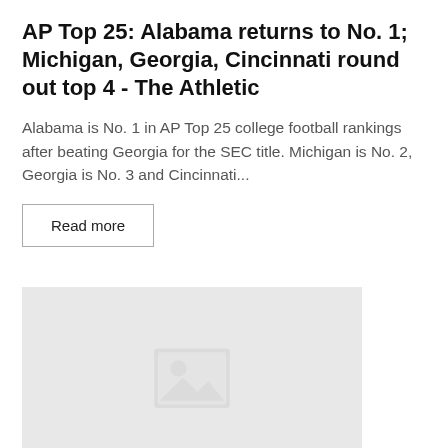AP Top 25: Alabama returns to No. 1; Michigan, Georgia, Cincinnati round out top 4 - The Athletic
Alabama is No. 1 in AP Top 25 college football rankings after beating Georgia for the SEC title. Michigan is No. 2, Georgia is No. 3 and Cincinnati...
Read more
[Figure (photo): Image placeholder with a gray background and a white image icon (landscape with mountain and circle/sun symbol) in the center]
College Football  |  14th Dec, 2021 15:39 PM